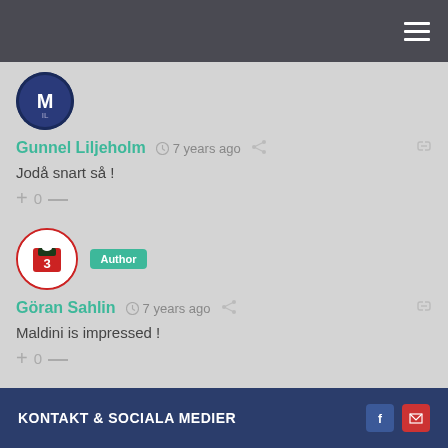Navigation bar with hamburger menu
[Figure (illustration): Round avatar with dark blue background and white text/logo]
Gunnel Liljeholm • 7 years ago
Jodå snart så !
0
[Figure (illustration): Round avatar with soccer jersey image and Author badge]
Göran Sahlin • 7 years ago
Maldini is impressed !
0
KONTAKT & SOCIALA MEDIER